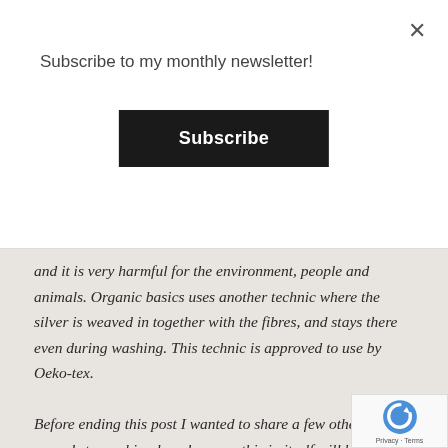Subscribe to my monthly newsletter!
Subscribe
and it is very harmful for the environment, people and animals. Organic basics uses another technic where the silver is weaved in together with the fibres, and stays there even during washing. This technic is approved to use by Oeko-tex.
Before ending this post I wanted to share a few other tips in regards to washing less, because this in itself will have a positive impact on our environment as well. Fresh air is a lifesaver for garments that are not really dirty or stained, and as the owner can also